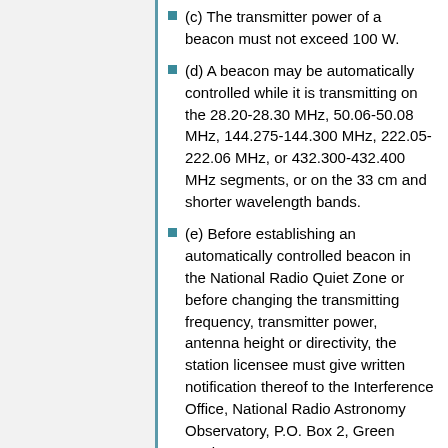(c) The transmitter power of a beacon must not exceed 100 W.
(d) A beacon may be automatically controlled while it is transmitting on the 28.20-28.30 MHz, 50.06-50.08 MHz, 144.275-144.300 MHz, 222.05-222.06 MHz, or 432.300-432.400 MHz segments, or on the 33 cm and shorter wavelength bands.
(e) Before establishing an automatically controlled beacon in the National Radio Quiet Zone or before changing the transmitting frequency, transmitter power, antenna height or directivity, the station licensee must give written notification thereof to the Interference Office, National Radio Astronomy Observatory, P.O. Box 2, Green Bank, WV 24944.
(1) The notification must include the geographical coordinates of the antenna, antenna ground elevation above mean sea level (AMSL), antenna center of radiation above